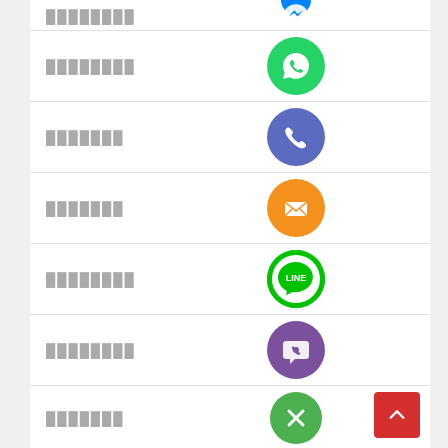[Figure (infographic): List of social/communication app icons with redacted text labels. Top partial row shows blue circle (Messenger/Facebook). Rows include WhatsApp (green), Phone (blue-purple), Email (orange), LINE (green), Viber (purple), Cancel/Other (green). Each row has a redacted label on the left and a circular app icon on the right. A red back-to-top button appears at bottom right.]
████████
███████
███████
███████
████████
████████
███████
████████
██████